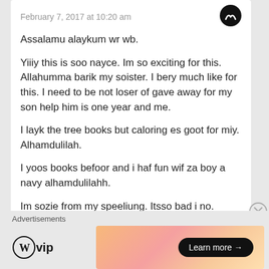February 7, 2017 at 10:20 am
Assalamu alaykum wr wb.
Yiiiy this is soo nayce. Im so exciting for this. Allahumma barik my soister. I bery much like for this. I need to be not loser of gave away for my son help him is one year and me.
I layk the tree books but caloring es goot for miy. Alhamdulilah.
I yoos books befoor and i haf fun wif za boy a navy alhamdulilahh.
Im sozie from my speeliung. Itsso bad i no.
I laf yew sake allah. Srsly
Advertisements